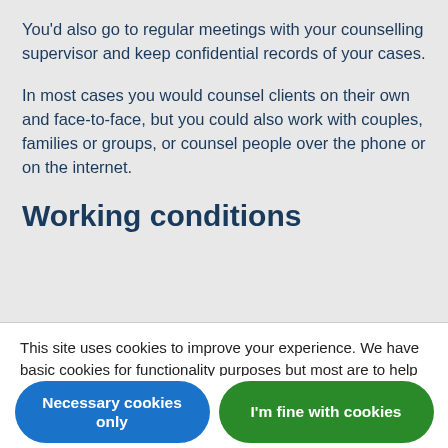You'd also go to regular meetings with your counselling supervisor and keep confidential records of your cases.
In most cases you would counsel clients on their own and face-to-face, but you could also work with couples, families or groups, or counsel people over the phone or on the internet.
Working conditions
This site uses cookies to improve your experience. We have basic cookies for functionality purposes but most are to help with navigation, promotion and third party resources. View cookie policy.